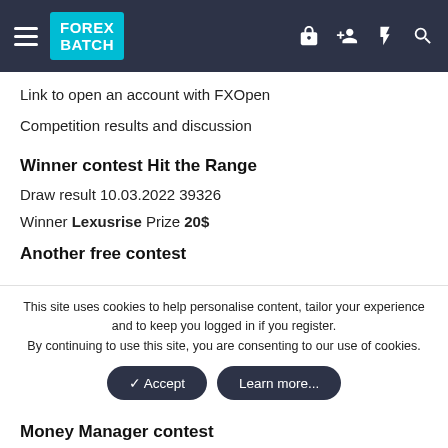FOREX BATCH
Link to open an account with FXOpen
Competition results and discussion
Winner contest Hit the Range
Draw result 10.03.2022 39326
Winner Lexusrise Prize 20$
Another free contest
This site uses cookies to help personalise content, tailor your experience and to keep you logged in if you register. By continuing to use this site, you are consenting to our use of cookies.
Money Manager contest